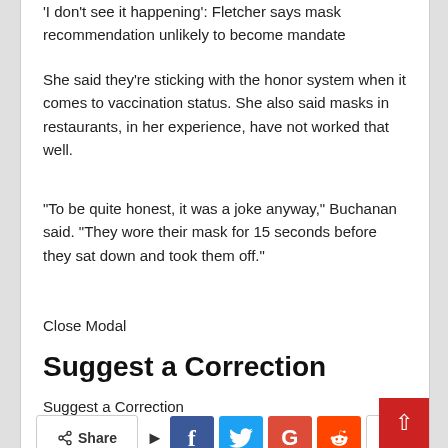'I don't see it happening': Fletcher says mask recommendation unlikely to become mandate
She said they're sticking with the honor system when it comes to vaccination status. She also said masks in restaurants, in her experience, have not worked that well.
“To be quite honest, it was a joke anyway,” Buchanan said. “They wore their mask for 15 seconds before they sat down and took them off.”
Close Modal
Suggest a Correction
Suggest a Correction
[Figure (other): Social share bar with Share button, Facebook, Twitter, Google+, Reddit, and More buttons, plus a scroll-to-top red button]